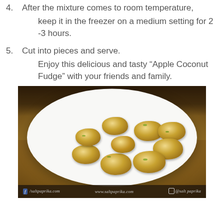4. After the mixture comes to room temperature, keep it in the freezer on a medium setting for 2 -3 hours.
5. Cut into pieces and serve.
   Enjoy this delicious and tasty “Apple Coconut Fudge” with your friends and family.
[Figure (photo): A white plate with multiple pieces of Apple Coconut Fudge garnished with pistachios, photographed on a dark wooden table. The image has a watermark bar at the bottom showing saltpaprika.com branding.]